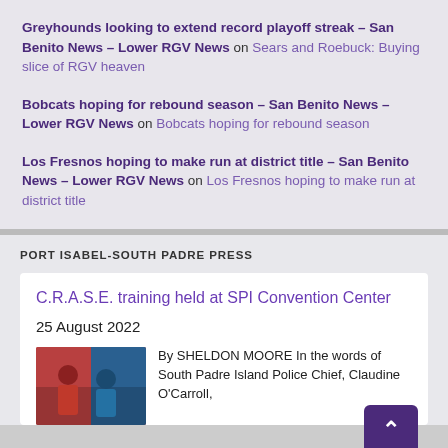Greyhounds looking to extend record playoff streak – San Benito News – Lower RGV News on Sears and Roebuck: Buying slice of RGV heaven
Bobcats hoping for rebound season – San Benito News – Lower RGV News on Bobcats hoping for rebound season
Los Fresnos hoping to make run at district title – San Benito News – Lower RGV News on Los Fresnos hoping to make run at district title
PORT ISABEL-SOUTH PADRE PRESS
C.R.A.S.E. training held at SPI Convention Center
25 August 2022
By SHELDON MOORE In the words of South Padre Island Police Chief, Claudine O'Carroll,